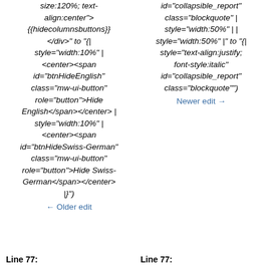size:120%; text-align:center">
{{hidecolumnsbuttons}}
</div>" to "{|
style="width:10%" |
<center><span
id="btnHideEnglish"
class="mw-ui-button"
role="button">Hide
English</span></center> |
style="width:10%" |
<center><span
id="btnHideSwiss-German"
class="mw-ui-button"
role="button">Hide Swiss-German</span></center>
|}")
← Older edit
id="collapsible_report"
class="blockquote" |
style="width:50%" | |
style="width:50%" |" to "{|
style="text-align:justify;
font-style:italic"
id="collapsible_report"
class="blockquote"")
Newer edit →
Line 77:
Line 77: